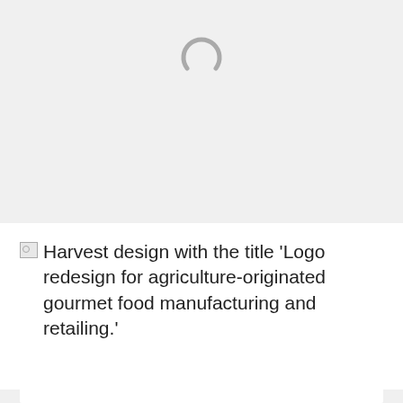[Figure (other): Loading spinner icon (circular arc) centered near top of page]
Harvest design with the title 'Logo redesign for agriculture-originated gourmet food manufacturing and retailing.'
by kodoqijo   👍 23